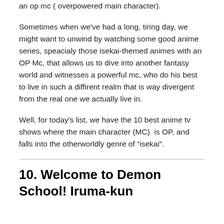an op mc ( overpowered main character).
Sometimes when we've had a long, tiring day, we might want to unwind by watching some good anime series, speacialy those isekai-themed animes with an OP Mc, that allows us to dive into another fantasy world and witnesses a powerful mc, who do his best to live in such a diffirent realm that is way divergent from the real one we actually live in.
Well, for today's list, we have the 10 best anime tv shows where the main character (MC)  is OP, and falls into the otherworldly genre of “isekai”.
10. Welcome to Demon School! Iruma-kun